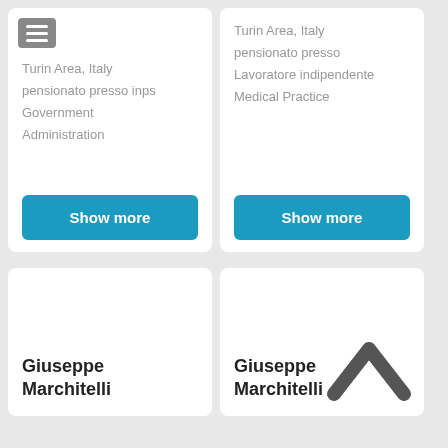Turin Area, Italy
pensionato presso inps
Government
Administration
Show more
Turin Area, Italy
pensionato presso
Lavoratore indipendente
Medical Practice
Show more
Giuseppe Marchitelli
Giuseppe Marchitelli